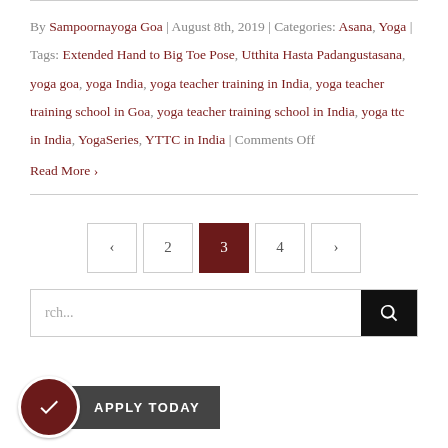By Sampoornayoga Goa | August 8th, 2019 | Categories: Asana, Yoga | Tags: Extended Hand to Big Toe Pose, Utthita Hasta Padangustasana, yoga goa, yoga India, yoga teacher training in India, yoga teacher training school in Goa, yoga teacher training school in India, yoga ttc in India, YogaSeries, YTTC in India | Comments Off
Read More >
< 2 3 4 >
Search...